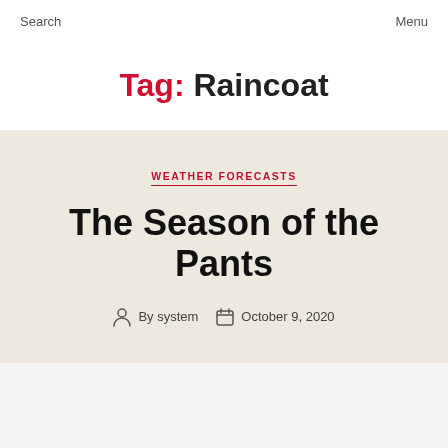Search   Menu
Tag: Raincoat
WEATHER FORECASTS
The Season of the Pants
By system   October 9, 2020